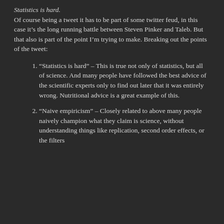Statistics is hard.
Of course being a tweet it has to be part of some twitter feud, in this case it’s the long running battle between Steven Pinker and Taleb. But that also is part of the point I’m trying to make. Breaking out the points of the tweet:
“Statistics is hard” – This is true not only of statistics, but all of science. And many people have followed the best advice of the scientific experts only to find out later that it was entirely wrong. Nutritional advice is a great example of this.
“Naive empiricism” – Closely related to above many people naively champion what they claim is science, without understanding things like replication, second order effects, or the filters